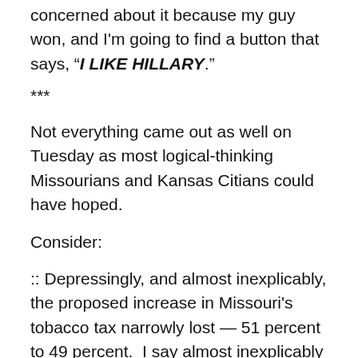concerned about it because my guy won, and I'm going to find a button that says, “I LIKE HILLARY.”
***
Not everything came out as well on Tuesday as most logical-thinking Missourians and Kansas Citians could have hoped.
Consider:
:: Depressingly, and almost inexplicably, the proposed increase in Missouri's tobacco tax narrowly lost — 51 percent to 49 percent.  I say almost inexplicably because the proponents of Prop B ran a lousy, nearly invisible campaign.
How can you fail to sell this pitch: Let’s raise cigarette prices for the 22 percent of Missourians…